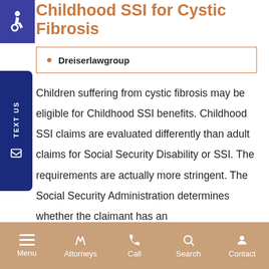Childhood SSI for Cystic Fibrosis
Dreiserlawgroup
Children suffering from cystic fibrosis may be eligible for Childhood SSI benefits. Childhood SSI claims are evaluated differently than adult claims for Social Security Disability or SSI. The requirements are actually more stringent. The Social Security Administration determines whether the claimant has an
Menu | Attorneys | Call | Search | Contact